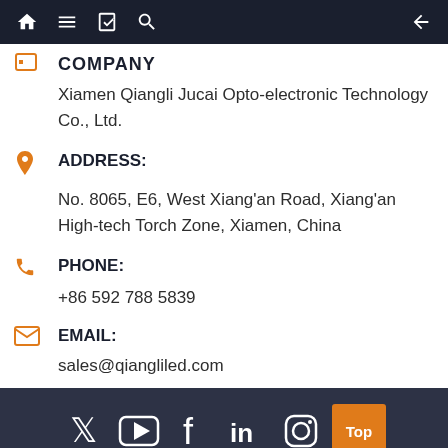Navigation bar with home, menu, bookmark, search icons and back arrow
COMPANY
Xiamen Qiangli Jucai Opto-electronic Technology Co., Ltd.
ADDRESS:
No. 8065, E6, West Xiang'an Road, Xiang'an High-tech Torch Zone, Xiamen, China
PHONE:
+86 592 788 5839
EMAIL:
sales@qiangliled.com
Copyright © Xiamen Qiangli Jucai Opto-electronic Technoloy Co., Ltd. All Rights Reserved